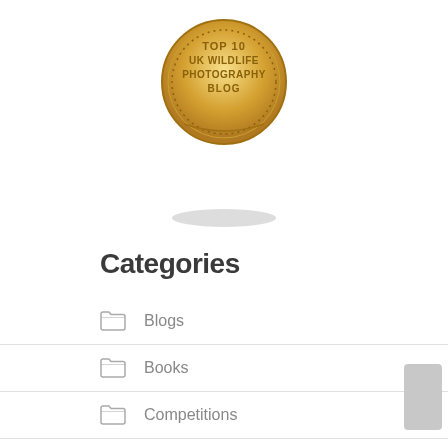[Figure (illustration): Gold medal/badge with text TOP 10 UK WILDLIFE PHOTOGRAPHY BLOG, with a shadow ellipse beneath it]
Categories
Blogs
Books
Competitions
Editorials
News
Petitions